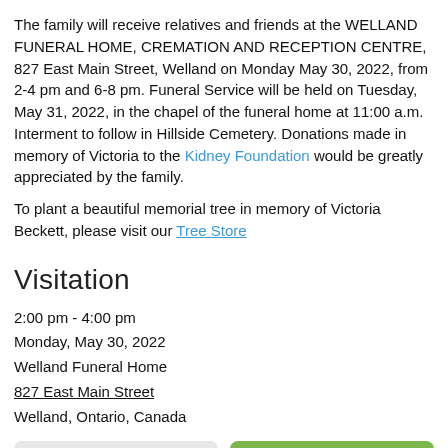The family will receive relatives and friends at the WELLAND FUNERAL HOME, CREMATION AND RECEPTION CENTRE, 827 East Main Street, Welland on Monday May 30, 2022, from 2-4 pm and 6-8 pm. Funeral Service will be held on Tuesday, May 31, 2022, in the chapel of the funeral home at 11:00 a.m. Interment to follow in Hillside Cemetery. Donations made in memory of Victoria to the Kidney Foundation would be greatly appreciated by the family.
To plant a beautiful memorial tree in memory of Victoria Beckett, please visit our Tree Store
Visitation
2:00 pm - 4:00 pm
Monday, May 30, 2022
Welland Funeral Home
827 East Main Street
Welland, Ontario, Canada
Share A Memory
Plant A Tree